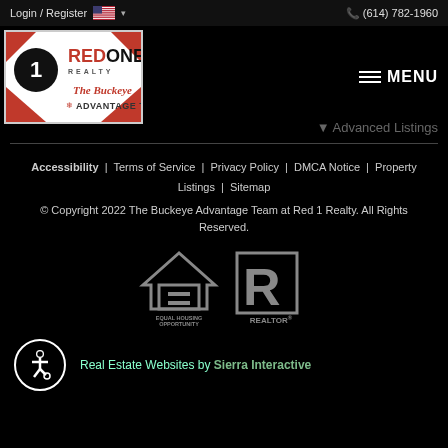Login / Register  🇺🇸 ▾   (614) 782-1960
[Figure (logo): Red One Realty - The Buckeye Advantage Team logo]
▼ Advanced Listings
Accessibility  |  Terms of Service  |  Privacy Policy  |  DMCA Notice  |  Property Listings  |  Sitemap
© Copyright 2022 The Buckeye Advantage Team at Red 1 Realty. All Rights Reserved.
[Figure (logo): Equal Housing Opportunity and REALTOR logos]
Real Estate Websites by Sierra Interactive